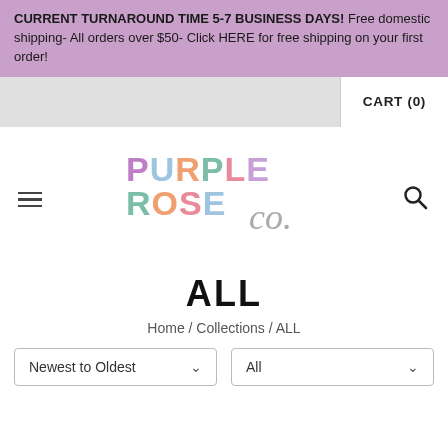CURRENT TURNAROUND TIME 5-7 BUSINESS DAYS! Free domestic shipping- All orders over $50- Click HERE for free shipping on your first order!
CART (0)
[Figure (logo): Purple Rose Co. logo with colorful letters]
ALL
Home / Collections / ALL
Newest to Oldest
All